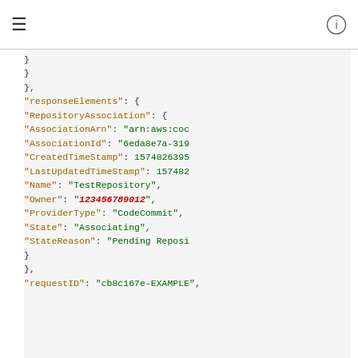≡   [info icon]
JSON code block showing repository association response with fields: AssociationArn, AssociationId, CreatedTimeStamp, LastUpdatedTimeStamp, Name, Owner, ProviderType, State, StateReason, responseElements, requestID